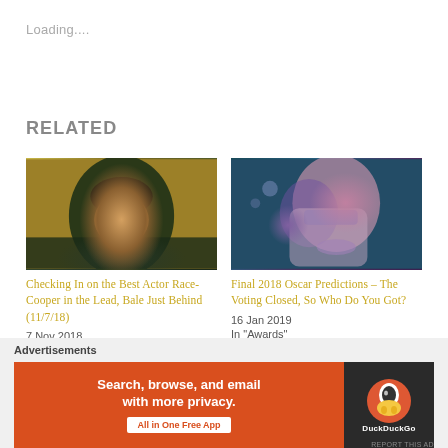Loading....
RELATED
[Figure (photo): A man resembling Van Gogh with dark hair and beard, wearing a dark green top, yellowish background]
Checking In on the Best Actor Race- Cooper in the Lead, Bale Just Behind (11/7/18)
7 Nov 2018
[Figure (photo): A performer with long hair covering their face with both hands, holding a microphone, teal/purple stage lighting]
Final 2018 Oscar Predictions – The Voting Closed, So Who Do You Got?
16 Jan 2019
In "Awards"
Advertisements
[Figure (other): DuckDuckGo advertisement banner: orange/red background with white text 'Search, browse, and email with more privacy. All in One Free App' and DuckDuckGo logo on dark right panel]